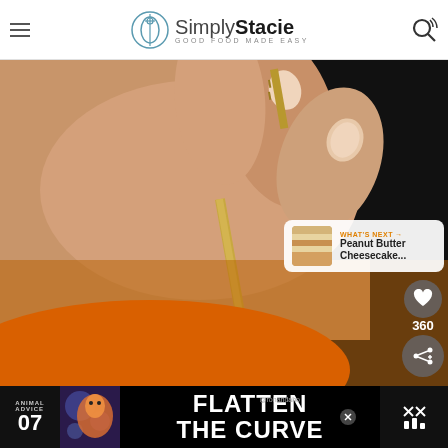Simply Stacie — GOOD FOOD MADE EASY
[Figure (photo): Close-up photo of a hand holding a gold/brass skewer or pin, pressing it into an orange pumpkin surface against a dark background.]
WHAT'S NEXT → Peanut Butter Cheesecake...
[Figure (other): Advertisement banner: ANIMAL ADVICE 07 / FLATTEN THE CURVE with colorful illustration and social handle @rohandaho]